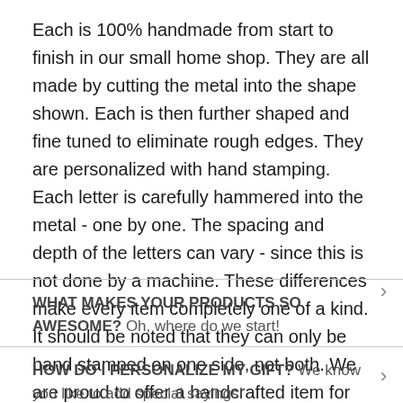Each is 100% handmade from start to finish in our small home shop. They are all made by cutting the metal into the shape shown. Each is then further shaped and fine tuned to eliminate rough edges. They are personalized with hand stamping. Each letter is carefully hammered into the metal - one by one. The spacing and depth of the letters can vary - since this is not done by a machine. These differences make every item completely one of a kind. It should be noted that they can only be hand stamped on one side, not both. We are proud to offer a handcrafted item for your special occasion that was made in the USA.
WHAT MAKES YOUR PRODUCTS SO AWESOME? Oh, where do we start!
HOW DO I PERSONALIZE MY GIFT? We know you like to add special sayings!